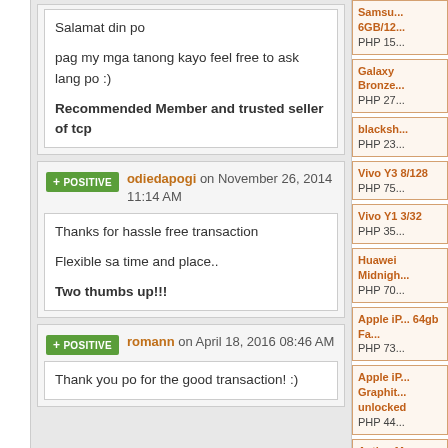Salamat din po

pag my mga tanong kayo feel free to ask lang po :)

Recommended Member and trusted seller of tcp
+ POSITIVE odiedapogi on November 26, 2014 11:14 AM
Thanks for hassle free transaction

Flexible sa time and place..

Two thumbs up!!!
+ POSITIVE romann on April 18, 2016 08:46 AM
Thank you po for the good transaction! :)
Samsung 6GB/12... PHP 15
Galaxy Bronze PHP 27
blacksh... PHP 23
Vivo Y3 8/128 PHP 75
Vivo Y1 3/32 PHP 35
Huawei Midnigh... PHP 70
Apple iP... 64gb Fa... PHP 73
Apple iP... Graphit... unlocked PHP 44
Activo M...